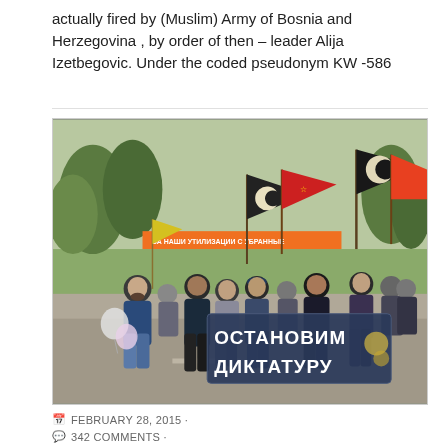actually fired by (Muslim) Army of Bosnia and Herzegovina , by order of then – leader Alija Izetbegovic. Under the coded pseudonym KW -586
[Figure (photo): A street march/protest procession with people carrying various flags including a black flag with a crescent, red flags, and a large banner in Cyrillic reading 'ОСТАНОВИМ ДИКТАТУРУ' (Stop the Dictatorship). Trees line the street in the background.]
FEBRUARY 28, 2015 ·
342 COMMENTS ·